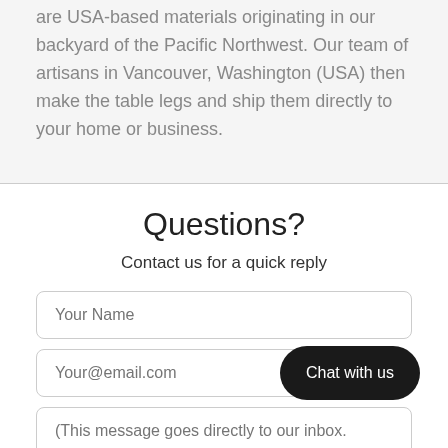are USA-based materials originating in our backyard of the Pacific Northwest. Our team of artisans in Vancouver, Washington (USA) then make the table legs and ship them directly to your home or business.
Questions?
Contact us for a quick reply
Your Name
Your@email.com
(This message goes directly to our inbox.